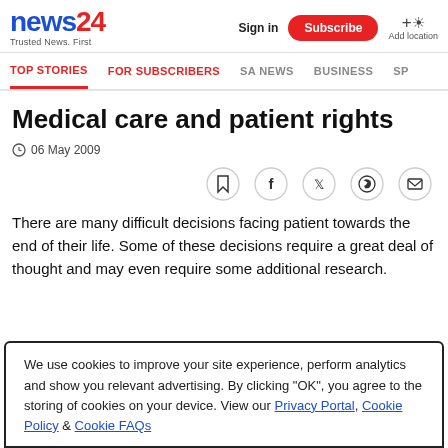news24 Trusted News. First | Sign in | Subscribe | Add location
TOP STORIES | FOR SUBSCRIBERS | SA NEWS | BUSINESS | SP
Medical care and patient rights
06 May 2009
There are many difficult decisions facing patient towards the end of their life. Some of these decisions require a great deal of thought and may even require some additional research.
We use cookies to improve your site experience, perform analytics and show you relevant advertising. By clicking "OK", you agree to the storing of cookies on your device. View our Privacy Portal, Cookie Policy & Cookie FAQs